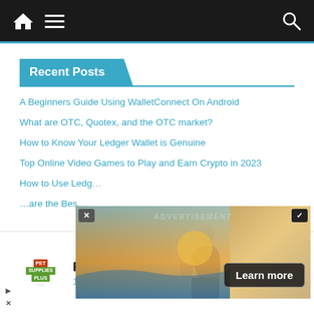Navigation bar with home icon, hamburger menu, and search icon
Recent Posts
A Beginners Guide Using WalletConnect On Android
What are OTC, Quotex, and the OTC market?
How to Know Your Ledger Wallet is Genuine
Top Online Video Games to Play and Earn Crypto in 2023
How to Use Ledg...
...are the Bes...
[Figure (screenshot): Popup advertisement overlay with a photo of a person near water at sunset, a close button (x), a checkmark button, and a 'Learn more' button. Text reads ADVERTISEMENT.]
[Figure (infographic): Bottom banner ad for Pet Supplies Plus showing Purcellville location open 9AM-9PM at 120 Purcellville Gateway Drive, with direction arrow diamond logo.]